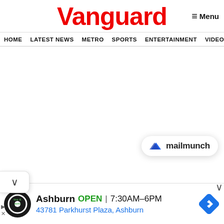Vanguard
≡ Menu
HOME  LATEST NEWS  METRO  SPORTS  ENTERTAINMENT  VIDEOS
[Figure (logo): Mailmunch widget logo with blue M icon and text 'mailmunch']
[Figure (infographic): Tire & Auto service ad: Ashburn OPEN 7:30AM-6PM, 43781 Parkhurst Plaza, Ashburn with navigation icon]